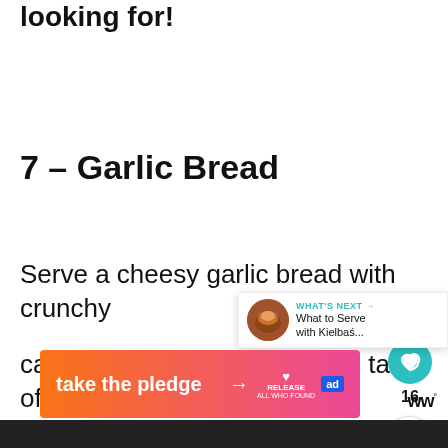looking for!
7 – Garlic Bread
Serve a cheesy garlic bread with crunchy
cabbage rolls for an authentic taste of
[Figure (other): Circular teal heart/like button with count 16, and a share button below]
[Figure (other): What's Next overlay with food thumbnail and text: What to Serve with Kielbaś...]
[Figure (other): Advertisement banner: take the pledge → RELEASE, with ad badge]